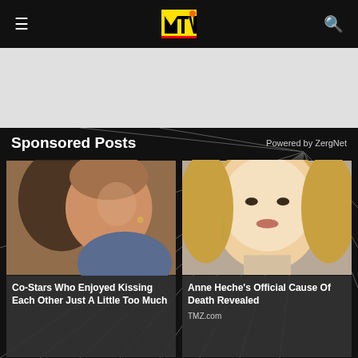MTV
[Figure (other): Advertisement banner area, light gray background]
Sponsored Posts
Powered by ZergNet
[Figure (photo): Two people kissing closely, romantic scene]
Co-Stars Who Enjoyed Kissing Each Other Just A Little Too Much
[Figure (photo): Blonde woman smiling at camera, Anne Heche]
Anne Heche's Official Cause Of Death Revealed
TMZ.com